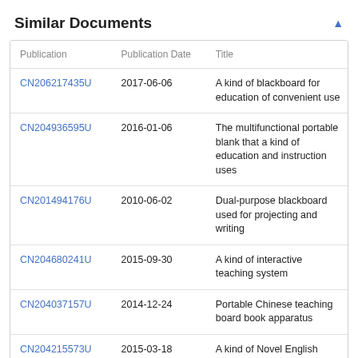Similar Documents
| Publication | Publication Date | Title |
| --- | --- | --- |
| CN206217435U | 2017-06-06 | A kind of blackboard for education of convenient use |
| CN204936595U | 2016-01-06 | The multifunctional portable blank that a kind of education and instruction uses |
| CN201494176U | 2010-06-02 | Dual-purpose blackboard used for projecting and writing |
| CN204680241U | 2015-09-30 | A kind of interactive teaching system |
| CN204037157U | 2014-12-24 | Portable Chinese teaching board book apparatus |
| CN204215573U | 2015-03-18 | A kind of Novel English teaching Graphic Panel |